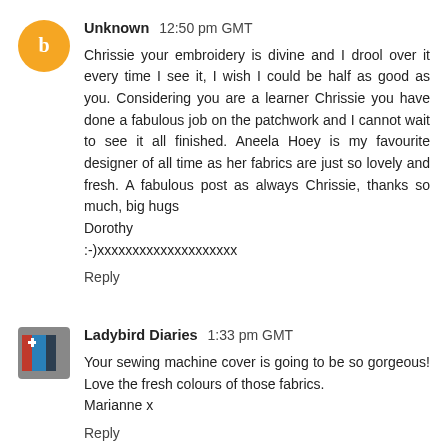Unknown 12:50 pm GMT
Chrissie your embroidery is divine and I drool over it every time I see it, I wish I could be half as good as you. Considering you are a learner Chrissie you have done a fabulous job on the patchwork and I cannot wait to see it all finished. Aneela Hoey is my favourite designer of all time as her fabrics are just so lovely and fresh. A fabulous post as always Chrissie, thanks so much, big hugs
Dorothy
:-)xxxxxxxxxxxxxxxxxxxx
Reply
Ladybird Diaries 1:33 pm GMT
Your sewing machine cover is going to be so gorgeous! Love the fresh colours of those fabrics.
Marianne x
Reply